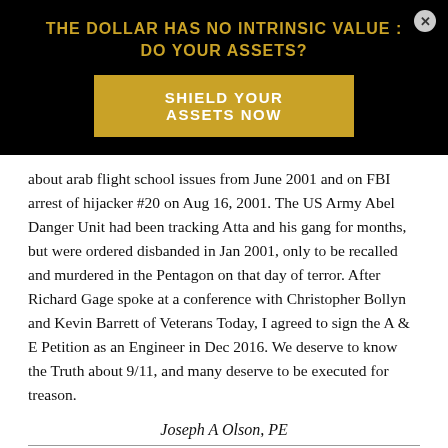THE DOLLAR HAS NO INTRINSIC VALUE : DO YOUR ASSETS?
SHIELD YOUR ASSETS NOW
about arab flight school issues from June 2001 and on FBI arrest of hijacker #20 on Aug 16, 2001.  The US Army Abel Danger Unit had been tracking Atta and his gang for months, but were ordered disbanded in Jan 2001, only to be recalled and murdered in the Pentagon on that day of terror.  After Richard Gage spoke at a conference with Christopher Bollyn and Kevin Barrett of Veterans Today, I agreed to sign the A & E Petition as an Engineer in Dec 2016. We deserve to know the Truth about 9/11, and many deserve to be executed for treason.
Joseph A Olson, PE
[Figure (engineering-diagram): Engineering dimension diagram showing measurements 6'-11" and 3'-4" Typical with dimension lines and arrows]